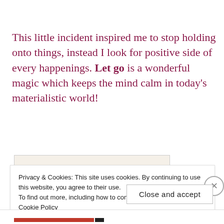This little incident inspired me to stop holding onto things, instead I look for positive side of every happenings. Let go is a wonderful magic which keeps the mind calm in today's materialistic world!
[Figure (illustration): Partial view of a decorative image with cursive red italic text reading 'Words Matter' on a textured beige background, partially obscured by a cookie consent overlay.]
Privacy & Cookies: This site uses cookies. By continuing to use this website, you agree to their use.
To find out more, including how to control cookies, see here: Cookie Policy
Close and accept